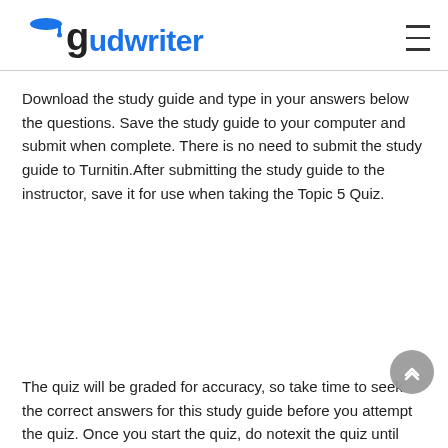gudwriter
Download the study guide and type in your answers below the questions. Save the study guide to your computer and submit when complete. There is no need to submit the study guide to Turnitin.After submitting the study guide to the instructor, save it for use when taking the Topic 5 Quiz.
The quiz will be graded for accuracy, so take time to seek the correct answers for this study guide before you attempt the quiz. Once you start the quiz, do notexit the quiz until